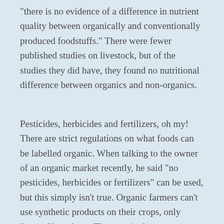“there is no evidence of a difference in nutrient quality between organically and conventionally produced foodstuffs.” There were fewer published studies on livestock, but of the studies they did have, they found no nutritional difference between organics and non-organics.
Pesticides, herbicides and fertilizers, oh my! There are strict regulations on what foods can be labelled organic. When talking to the owner of an organic market recently, he said “no pesticides, herbicides or fertilizers” can be used, but this simply isn’t true. Organic farmers can’t use synthetic products on their crops, only “natural” products. The seemingly